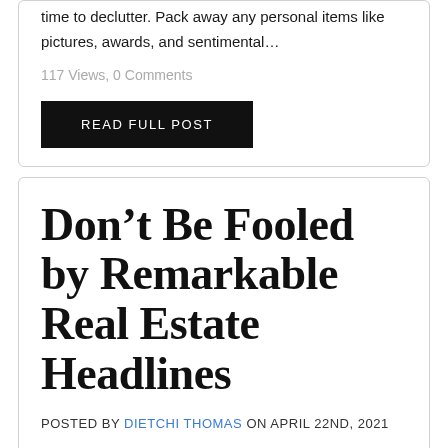time to declutter. Pack away any personal items like pictures, awards, and sentimental…
117 Views, 0 Comments
READ FULL POST
Don't Be Fooled by Remarkable Real Estate Headlines
POSTED BY DIETCHI THOMAS ON APRIL 22ND, 2021